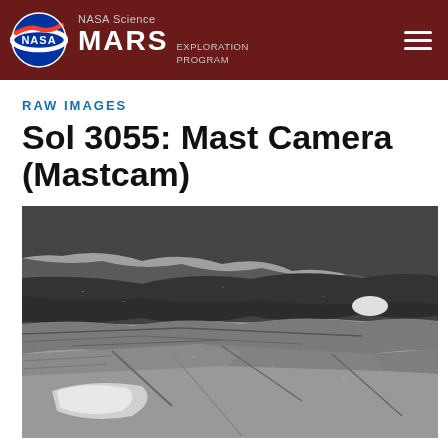NASA Science MARS EXPLORATION PROGRAM
RAW IMAGES
Sol 3055: Mast Camera (Mastcam)
[Figure (photo): Black and white raw image from Mars Curiosity rover Mastcam showing layered rock formations and Martian terrain on Sol 3055]